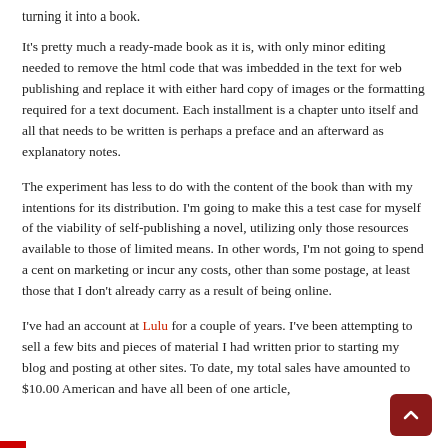turning it into a book.
It's pretty much a ready-made book as it is, with only minor editing needed to remove the html code that was imbedded in the text for web publishing and replace it with either hard copy of images or the formatting required for a text document. Each installment is a chapter unto itself and all that needs to be written is perhaps a preface and an afterward as explanatory notes.
The experiment has less to do with the content of the book than with my intentions for its distribution. I'm going to make this a test case for myself of the viability of self-publishing a novel, utilizing only those resources available to those of limited means. In other words, I'm not going to spend a cent on marketing or incur any costs, other than some postage, at least those that I don't already carry as a result of being online.
I've had an account at Lulu for a couple of years. I've been attempting to sell a few bits and pieces of material I had written prior to starting my blog and posting at other sites. To date, my total sales have amounted to $10.00 American and have all been of one article,